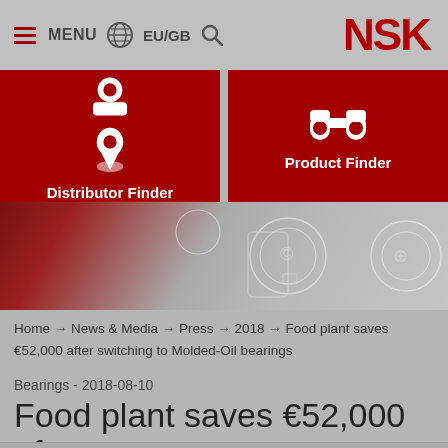MENU  EU/GB  NSK
[Figure (infographic): Two red navigation buttons: Distributor Finder (location pin icon) and Product Finder (binoculars icon)]
[Figure (photo): Hero image showing a person holding a smartphone with digital UI overlay icons]
Home → News & Media → Press → 2018 → Food plant saves €52,000 after switching to Molded-Oil bearings
Bearings - 2018-08-10
Food plant saves €52,000 after